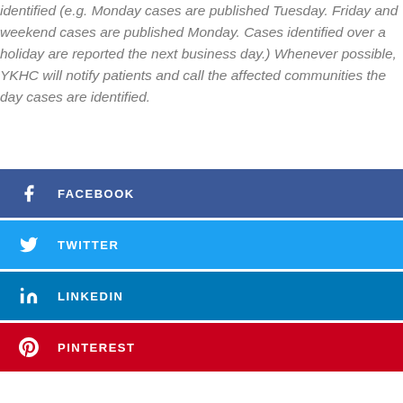identified (e.g. Monday cases are published Tuesday. Friday and weekend cases are published Monday. Cases identified over a holiday are reported the next business day.) Whenever possible, YKHC will notify patients and call the affected communities the day cases are identified.
FACEBOOK
TWITTER
LINKEDIN
PINTEREST